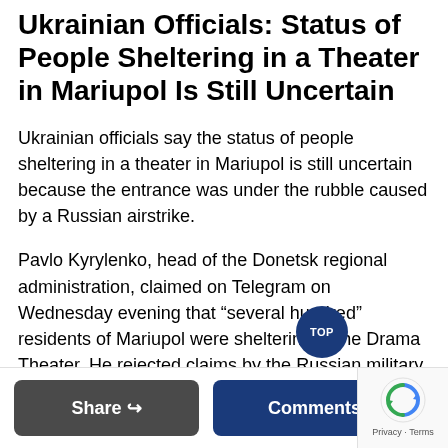Ukrainian Officials: Status of People Sheltering in a Theater in Mariupol Is Still Uncertain
Ukrainian officials say the status of people sheltering in a theater in Mariupol is still uncertain because the entrance was under the rubble caused by a Russian airstrike.
Pavlo Kyrylenko, head of the Donetsk regional administration, claimed on Telegram on Wednesday evening that “several hundred” residents of Mariupol were sheltering in the Drama Theater. He rejected claims by the Russian military that the Azov battalion was headquartered in the theater, stressing that